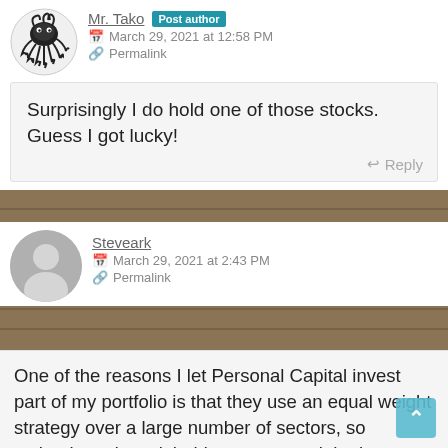[Figure (illustration): Octopus logo avatar for Mr. Tako, black and white illustrated octopus]
Mr. Tako  Post author
March 29, 2021 at 12:58 PM
Permalink
Surprisingly I do hold one of those stocks. Guess I got lucky!
Reply
[Figure (illustration): Generic grey silhouette avatar for Steveark]
Steveark
March 29, 2021 at 2:43 PM
Permalink
One of the reasons I let Personal Capital invest part of my portfolio is that they use an equal weight strategy over a large number of sectors, so technology doesn’t hold any more weight than utilities or consumer goods or anything else. And even within the sectors they don’t use cap